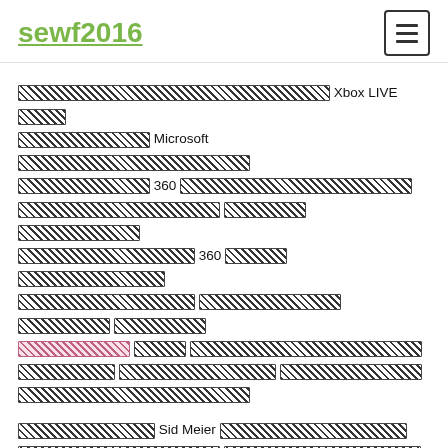sewf2016
[redacted] Xbox LIVE [redacted] Microsoft [redacted] 360 [redacted] [redacted] [redacted] 360 [redacted] [redacted] [redacted] [redacted] [redacted] [redacted] [redacted] [redacted] [redacted] [redacted] [redacted]
[redacted] Sid Meier [redacted] [redacted] [redacted] [redacted] [redacted]
[redacted] [redacted] [redacted] [redacted] [redacted]